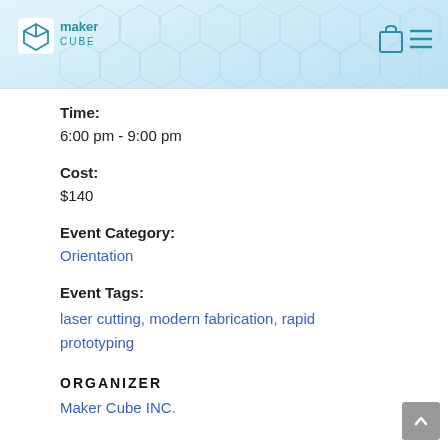[Figure (logo): Maker Cube logo with geometric cube icon and text 'maker CUBE' in teal/blue]
Maker Cube website header with logo, cart icon, and hamburger menu
Time:
6:00 pm - 9:00 pm
Cost:
$140
Event Category:
Orientation
Event Tags:
laser cutting, modern fabrication, rapid prototyping
ORGANIZER
Maker Cube INC.